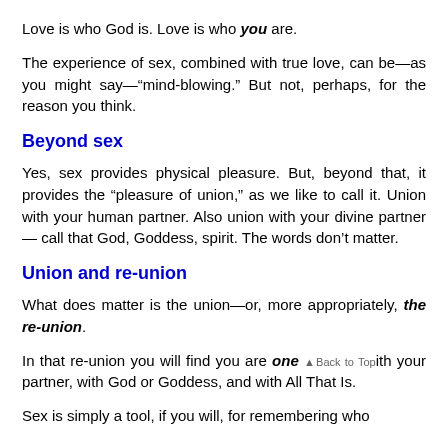Love is who God is. Love is who you are.
The experience of sex, combined with true love, can be—as you might say—“mind-blowing.” But not, perhaps, for the reason you think.
Beyond sex
Yes, sex provides physical pleasure. But, beyond that, it provides the “pleasure of union,” as we like to call it. Union with your human partner. Also union with your divine partner — call that God, Goddess, spirit. The words don’t matter.
Union and re-union
What does matter is the union—or, more appropriately, the re-union.
In that re-union you will find you are one with your partner, with God or Goddess, and with All That Is.
Sex is simply a tool, if you will, for remembering who